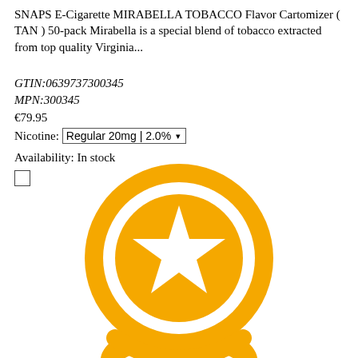SNAPS E-Cigarette MIRABELLA TOBACCO Flavor Cartomizer ( TAN ) 50-pack Mirabella is a special blend of tobacco extracted from top quality Virginia...
GTIN:0639737300345
MPN:300345
€79.95
Nicotine: Regular 20mg | 2.0%
Availability: In stock
[Figure (logo): Large golden/amber circular badge logo with an outer ring, inner circle, and a white five-pointed star in the center. Below the circle are two curved bracket shapes forming a handle or stand, also in gold/amber color.]